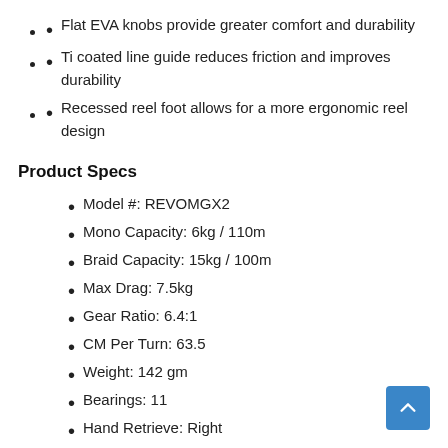Flat EVA knobs provide greater comfort and durability
Ti coated line guide reduces friction and improves durability
Recessed reel foot allows for a more ergonomic reel design
Product Specs
Model #: REVOMGX2
Mono Capacity: 6kg / 110m
Braid Capacity: 15kg / 100m
Max Drag: 7.5kg
Gear Ratio: 6.4:1
CM Per Turn: 63.5
Weight: 142 gm
Bearings: 11
Hand Retrieve: Right